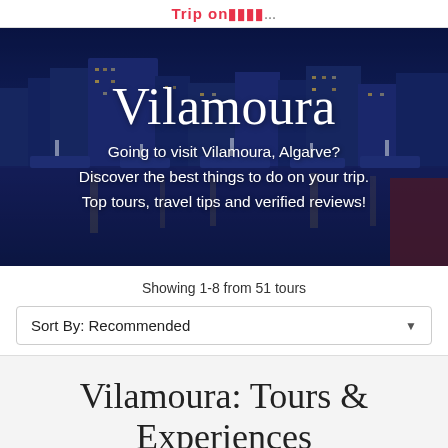Trip on ...
[Figure (photo): Night photo of Vilamoura marina with boats and illuminated buildings in the background against a deep blue sky]
Vilamoura
Going to visit Vilamoura, Algarve? Discover the best things to do on your trip. Top tours, travel tips and verified reviews!
Showing 1-8 from 51 tours
Sort By: Recommended
Vilamoura: Tours & Experiences